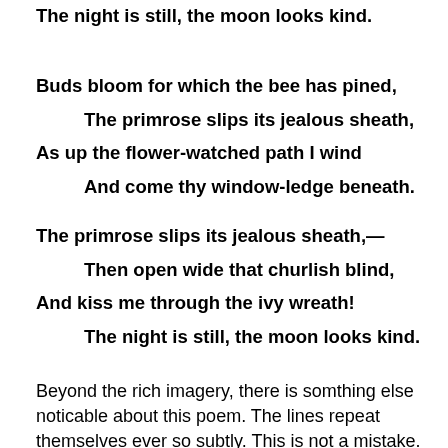The night is still, the moon looks kind.
Buds bloom for which the bee has pined,
The primrose slips its jealous sheath,
As up the flower-watched path I wind
And come thy window-ledge beneath.
The primrose slips its jealous sheath,—
Then open wide that churlish blind,
And kiss me through the ivy wreath!
The night is still, the moon looks kind.
Beyond the rich imagery, there is somthing else noticable about this poem. The lines repeat themselves ever so subtly. This is not a mistake. No, this is art and Thomas